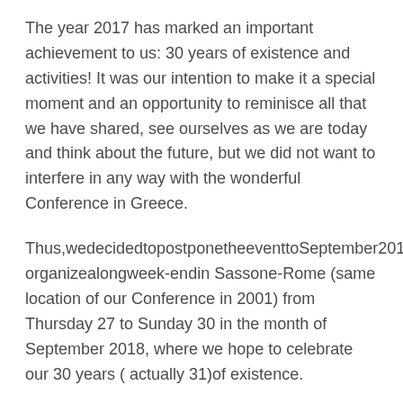The year 2017 has marked an important achievement to us: 30 years of existence and activities! It was our intention to make it a special moment and an opportunity to reminisce all that we have shared, see ourselves as we are today and think about the future, but we did not want to interfere in any way with the wonderful Conference in Greece.
Thus,wedecidedtopostponetheeventtoSeptember2018and organizealongweek-endin Sassone-Rome (same location of our Conference in 2001) from Thursday 27 to Sunday 30 in the month of September 2018, where we hope to celebrate our 30 years ( actually 31)of existence.
In line with the newly introduced CIF 2028 strategic planning idea, we hope to discuss and analyse with everyone interested, in particular the Branches that have conducted a Peace Project, all those who have joined us in